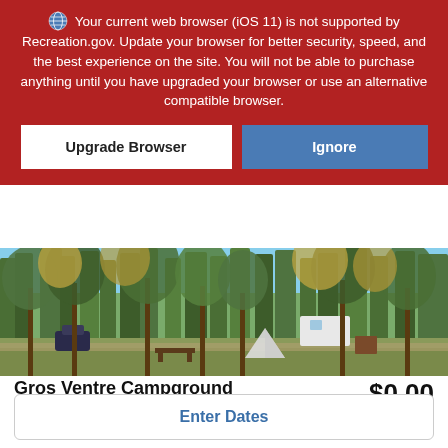Your current web browser (iOS 11) is not supported by Recreation.gov. Update your browser for better security, speed, and the best experience on the site. You will not be able to purchase anything until you have upgraded your browser or use an alternative compatible browser.
[Figure (screenshot): A photo of Gros Ventre Campground showing trees, a campsite with a tent, and a vehicle in a forested area.]
Gros Ventre Campground
$0.00
Site 293, Loop F
+ Fees & Taxes
Enter Dates